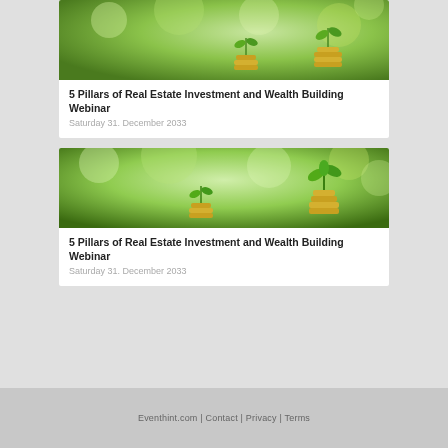[Figure (photo): Green plants growing out of stacked coins on a blurred green background]
5 Pillars of Real Estate Investment and Wealth Building Webinar
Saturday 31. December 2033
[Figure (photo): Green plants growing out of stacked coins on a blurred green background]
5 Pillars of Real Estate Investment and Wealth Building Webinar
Saturday 31. December 2033
Eventhint.com | Contact | Privacy | Terms